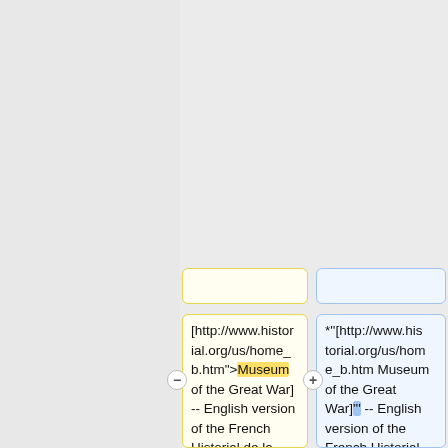[http://digicoll.library.wisc.edu/cgi-bin/History/History-idx?type=header&id=History.Hanotaux01 Hanotaux, Gabriel. "Histoire illustrée de la guerre de 1914"]'
[http://digicoll.library.wisc.edu/cgi-bin/History/History-idx?type=header&id=History.Hanotaux01 Hanotaux, Gabriel. "Histoire illustrée de la guerre de 1914"]'
[http://www.historial.org/us/home_b.htm">Museum of the Great War] -- English version of the French Historial de la Grande Guerre.
*''[http://www.historial.org/us/home_b.htm Museum of the Great War]''' -- English version of the French Historial de la Grande Guerre.